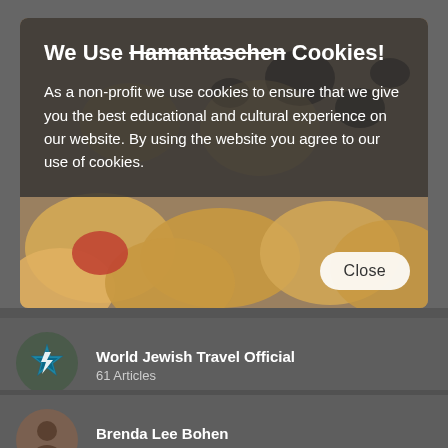[Figure (screenshot): Cookie consent modal overlay on a website. Shows a background image of hamantaschen cookies (triangular pastries with fillings). The modal has a dark semi-transparent header area with white text, and a close button at the bottom right.]
We Use Hamantaschen Cookies!
As a non-profit we use cookies to ensure that we give you the best educational and cultural experience on our website. By using the website you agree to our use of cookies.
World Jewish Travel Official
61 Articles
Brenda Lee Bohen
8 Articles
FBCEI - Fondazione Beni Culturali Ebraici in Italia